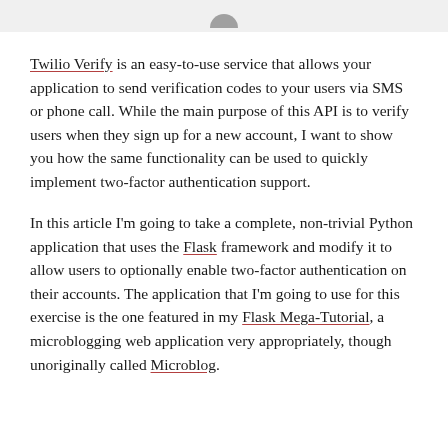Twilio Verify is an easy-to-use service that allows your application to send verification codes to your users via SMS or phone call. While the main purpose of this API is to verify users when they sign up for a new account, I want to show you how the same functionality can be used to quickly implement two-factor authentication support.
In this article I'm going to take a complete, non-trivial Python application that uses the Flask framework and modify it to allow users to optionally enable two-factor authentication on their accounts. The application that I'm going to use for this exercise is the one featured in my Flask Mega-Tutorial, a microblogging web application very appropriately, though unoriginally called Microblog.